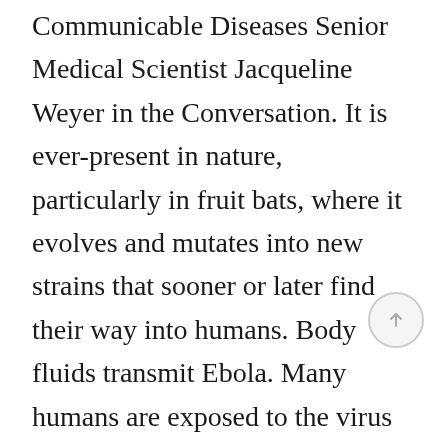Communicable Diseases Senior Medical Scientist Jacqueline Weyer in the Conversation. It is ever-present in nature, particularly in fruit bats, where it evolves and mutates into new strains that sooner or later find their way into humans. Body fluids transmit Ebola. Many humans are exposed to the virus when they butcher infected animals, CNN reported.
The good news, argued Weyer, is that Guineans have a lot of